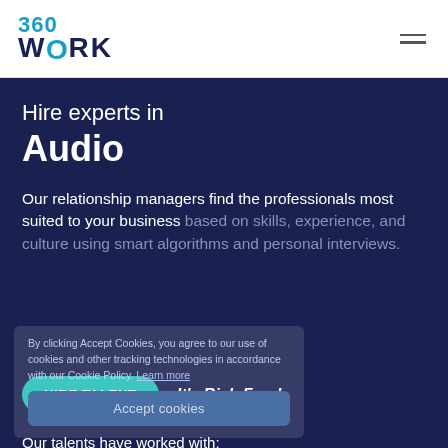[Figure (logo): 360WORK logo with teal '360' text and dark blue 'WORK' text, where the O has a teal checkmark overlay]
Hire experts in Audio
Our relationship managers find the professionals most suited to your business based on skills, experience, and culture using smart algorithms and personal interviews.
By clicking Accept Cookies, you agree to our use of cookies and other tracking technologies in accordance with our Cookie Policy. Learn more
HIRE TALENT   It's Risk-Free!
Our talents have worked with: